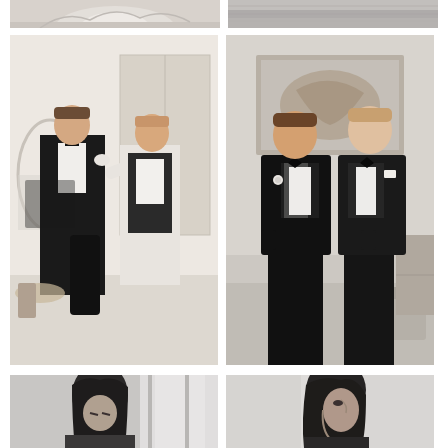[Figure (photo): Top-left partial photo: architectural decorative ceiling detail, white ornamental molding, cropped at bottom edge]
[Figure (photo): Top-right partial photo: grey textured surface, possibly fabric or wall material, abstract close-up]
[Figure (photo): Middle-left color photo: two men in black tuxedos with bow ties in a hotel room, one helping the other put on his jacket, mirror reflection visible in background]
[Figure (photo): Middle-right color photo: two men in black suits and bow ties standing together posing in a hotel room, one with a white boutonniere, both smiling]
[Figure (photo): Bottom-left black and white photo: woman with dark hair looking downward, partial view, window light in background]
[Figure (photo): Bottom-right black and white photo: woman with dark hair in profile view, partial crop at bottom of page]